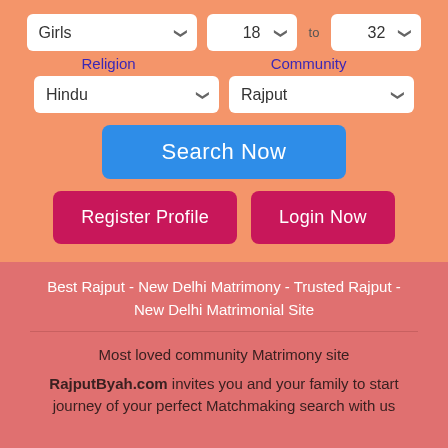[Figure (screenshot): Matrimony search form with dropdowns for Girls, age range 18 to 32, Religion: Hindu, Community: Rajput, and buttons Search Now, Register Profile, Login Now]
Religion
Community
Best Rajput - New Delhi Matrimony - Trusted Rajput - New Delhi Matrimonial Site
Most loved community Matrimony site
RajputByah.com invites you and your family to start journey of your perfect Matchmaking search with us